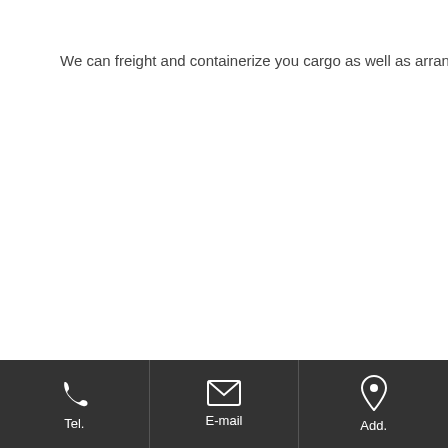We can freight and containerize you cargo as well as arrange overseas sh
[Figure (infographic): Footer bar with three icon buttons: phone icon labeled Tel., envelope/email icon labeled E-mail, and map pin icon labeled Add.]